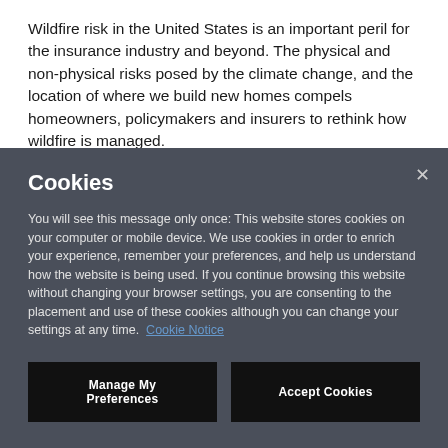Wildfire risk in the United States is an important peril for the insurance industry and beyond. The physical and non-physical risks posed by the climate change, and the location of where we build new homes compels homeowners, policymakers and insurers to rethink how wildfire is managed.
Cookies
You will see this message only once: This website stores cookies on your computer or mobile device. We use cookies in order to enrich your experience, remember your preferences, and help us understand how the website is being used. If you continue browsing this website without changing your browser settings, you are consenting to the placement and use of these cookies although you can change your settings at any time. Cookie Notice